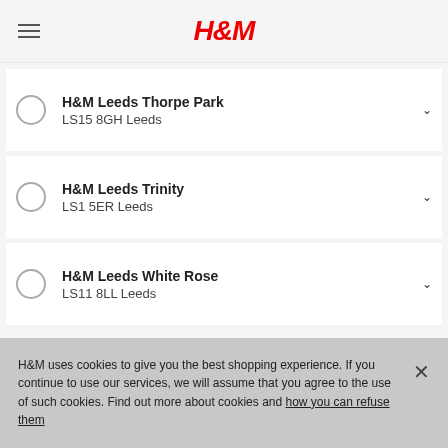H&M
H&M Leeds Thorpe Park
LS15 8GH Leeds
H&M Leeds Trinity
LS1 5ER Leeds
H&M Leeds White Rose
LS11 8LL Leeds
H&M uses cookies to give you the best shopping experience. If you continue to use our services, we will assume that you agree to the use of such cookies. Find out more about cookies and how you can refuse them